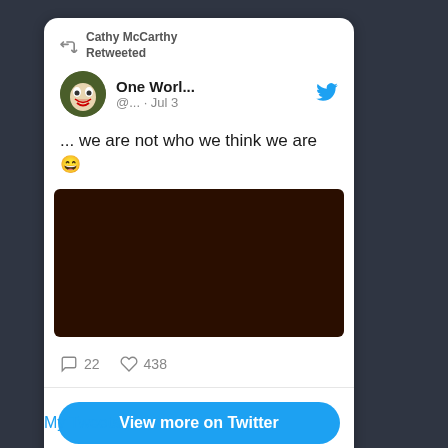[Figure (screenshot): Twitter/social media card screenshot showing a retweet by Cathy McCarthy of a tweet from 'One Worl...' account (@...) dated Jul 3, with text '... we are not who we think we are 😄', a dark brown image, 22 comments, 438 likes, and a 'View more on Twitter' button. Below the card is a 'My Tweets' link.]